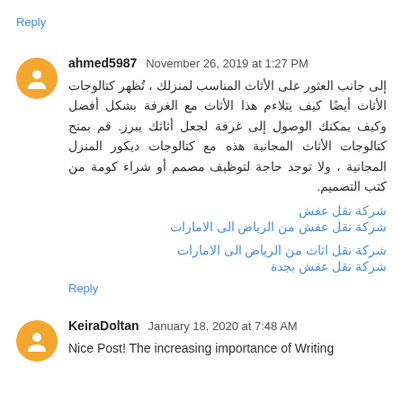Reply
ahmed5987  November 26, 2019 at 1:27 PM
إلى جانب العثور على الأثاث المناسب لمنزلك ، تُظهر كتالوجات الأثاث أيضًا كيف يتلاءم هذا الأثاث مع الغرفة بشكل أفضل وكيف يمكنك الوصول إلى غرفة لجعل أثاثك يبرز. قم بمنح كتالوجات الأثاث المجانية هذه مع كتالوجات ديكور المنزل المجانية ، ولا توجد حاجة لتوظيف مصمم أو شراء كومة من كتب التصميم.
شركة نقل عفش
شركة نقل عفش من الرياض الى الامارات
شركة نقل اثاث من الرياض الى الامارات
شركة نقل عفش بجدة
Reply
KeiraDoltan  January 18, 2020 at 7:48 AM
Nice Post! The increasing importance of Writing